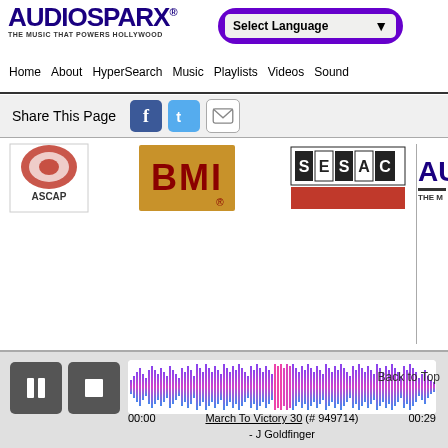[Figure (logo): AudioSparx logo with tagline 'THE MUSIC THAT POWERS HOLLYWOOD']
[Figure (screenshot): Select Language dropdown in purple rounded bar]
Home  About  HyperSearch  Music  Playlists  Videos  Sound
Share This Page
[Figure (logo): ASCAP logo]
[Figure (logo): BMI logo]
[Figure (logo): SESAC logo]
[Figure (logo): AudioSparx partial logo on right side]
All Rights Reserved. All trademarks appearing on this site are the property of
[Figure (screenshot): Audio player bar with pause/stop buttons, waveform, timecodes 00:00 and 00:29, track 'March To Victory 30 (# 949714) - J Goldfinger']